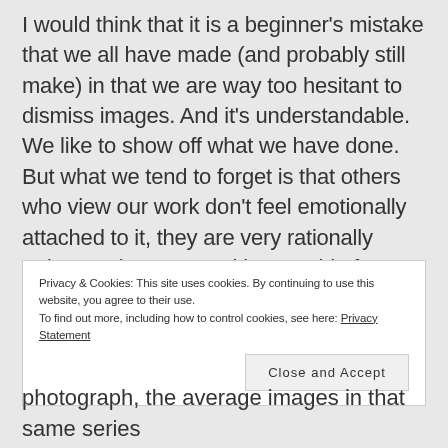I would think that it is a beginner's mistake that we all have made (and probably still make) in that we are way too hesitant to dismiss images. And it's understandable. We like to show off what we have done. But what we tend to forget is that others who view our work don't feel emotionally attached to it, they are very rationally rating our images. And in a world of a myriad of excellent pictures being uploaded to Flickr, Facebook, 500px and others it is impossible to stand out with mediocre ones. If you
Privacy & Cookies: This site uses cookies. By continuing to use this website, you agree to their use.
To find out more, including how to control cookies, see here: Privacy Statement
photograph, the average images in that same series